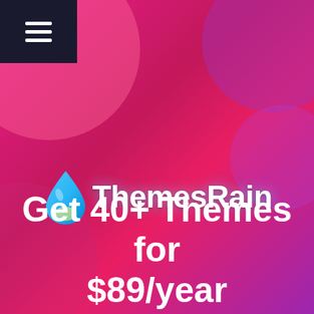[Figure (screenshot): ThemesRain website screenshot with hot pink/magenta gradient background, decorative blob shapes, hamburger menu in top-left dark corner, ThemesRain logo with water droplet icon in center, and large white headline text 'Get 40+ Themes for $89/year']
Get 40+ Themes for $89/year